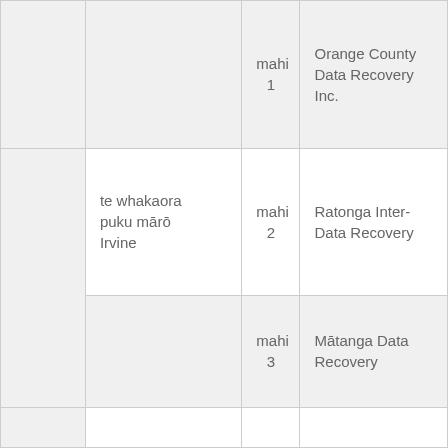|  | mahi 1 | Orange County Data Recovery Inc. |
| te whakaora puku mārō Irvine | mahi 2 | Ratonga Inter-Data Recovery |
|  | mahi 3 | Mātanga Data Recovery |
|  |  |  |